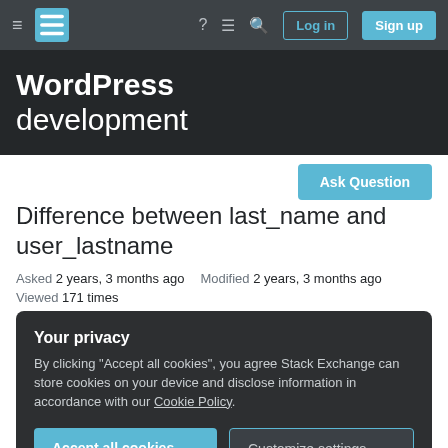Stack Exchange navigation bar with hamburger menu, logo, help, chat, search, Log in, Sign up buttons
WordPress development
Difference between last_name and user_lastname
Asked 2 years, 3 months ago   Modified 2 years, 3 months ago
Viewed 171 times
Your privacy
By clicking "Accept all cookies", you agree Stack Exchange can store cookies on your device and disclose information in accordance with our Cookie Policy.
Accept all cookies   Customize settings